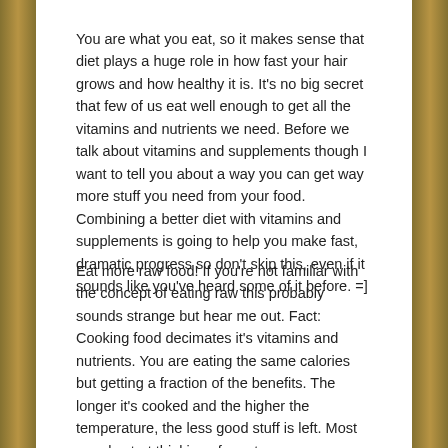You are what you eat, so it makes sense that diet plays a huge role in how fast your hair grows and how healthy it is. It's no big secret that few of us eat well enough to get all the vitamins and nutrients we need. Before we talk about vitamins and supplements though I want to tell you about a way you can get way more stuff you need from your food. Combining a better diet with vitamins and supplements is going to help you make fast, dramatic progress so don't skip this, even if it sounds like you've heard some of it before. =]
Eat more raw food! If you're not familiar with the concept of eating raw this probably sounds strange but hear me out. Fact: Cooking food decimates it's vitamins and nutrients. You are eating the same calories but getting a fraction of the benefits. The longer it's cooked and the higher the temperature, the less good stuff is left. Most people start thinking of meat as soon as you say raw food, and it's true that you can eat sushi, but most